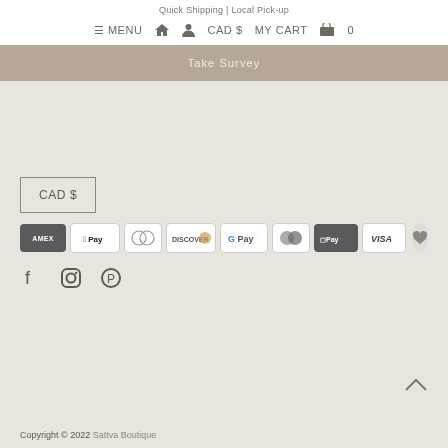Quick Shipping | Local Pick-up
≡ MENU  🏠  👤  CAD $  MY CART 🛒 0
Take Survey
CAD $
[Figure (other): Payment method badges: AMEX, Apple Pay, Diners Club, Discover, Google Pay, Mastercard, Shop Pay, Visa, and a heart/wishlist button]
[Figure (other): Social media icons: Facebook, Instagram, Pinterest]
^
Copyright © 2022 Sattva Boutique